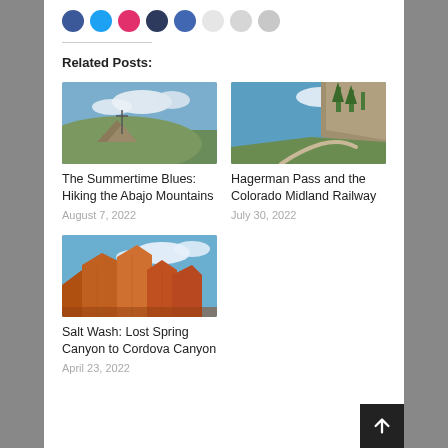[Figure (photo): Social media sharing icons (circles) partially visible at top of page]
Related Posts:
[Figure (photo): Mountain summit landscape with a marker/cross, blue sky with clouds, expansive valley view below — for post 'The Summertime Blues: Hiking the Abajo Mountains']
The Summertime Blues: Hiking the Abajo Mountains
August 7, 2022
[Figure (photo): Trail winding past rocky cliff face with evergreen trees, green grass, blue sky — for post 'Hagerman Pass and the Colorado Midland Railway']
Hagerman Pass and the Colorado Midland Railway
July 30, 2022
[Figure (photo): Dramatic red/orange sandstone rock formations under blue sky with clouds — for post 'Salt Wash: Lost Spring Canyon to Cordova Canyon']
Salt Wash: Lost Spring Canyon to Cordova Canyon
April 23, 2022